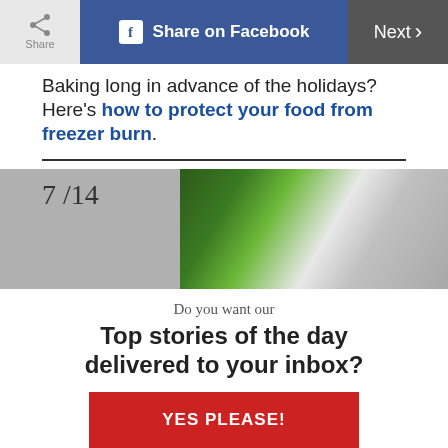Share | Share on Facebook | Next >
Baking long in advance of the holidays? Here's how to protect your food from freezer burn.
[Figure (photo): Slide 7 of 14 showing wrapped food items with green and white packaging against a gray background]
Do you want our Top stories of the day delivered to your inbox?
YES PLEASE!
NO THANKS